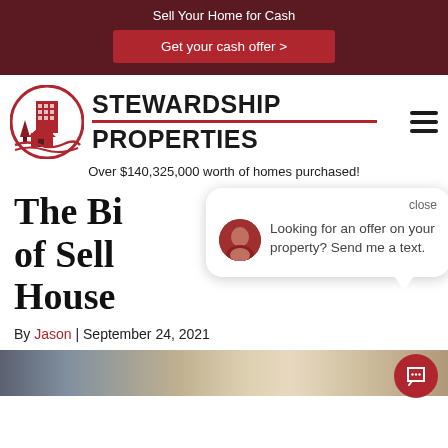Sell Your Home for Cash
Get your cash offer >
[Figure (logo): Stewardship Properties logo with circular building icon and bold text STEWARDSHIP PROPERTIES with red underline]
Over $140,325,000 worth of homes purchased!
The Big Advantages of Selling Your House
[Figure (other): Chat popup with avatar photo and message: Looking for an offer on your property? Send me a text. With close button.]
By Jason | September 24, 2021
[Figure (photo): Bottom strip of a photo, appears to show a room interior with wooden furniture]